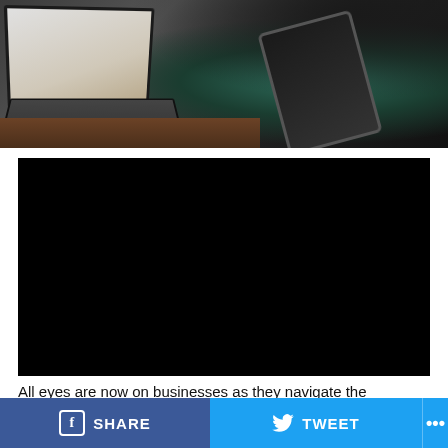[Figure (photo): Person's hands using a laptop and holding a tablet/phone on a wooden desk, viewed from above. Dark tones with a teal/green sleeve visible.]
[Figure (other): Black video player embed area (dark/blank video frame).]
All eyes are now on businesses as they navigate the
SHARE   TWEET   ...